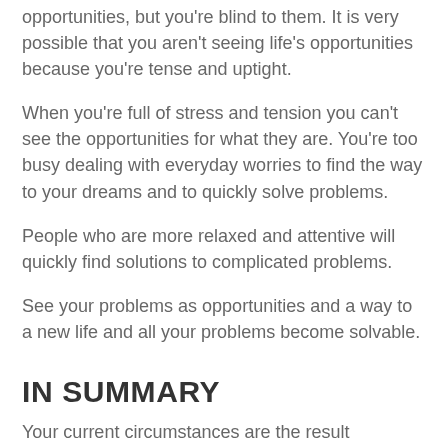opportunities, but you're blind to them. It is very possible that you aren't seeing life's opportunities because you're tense and uptight.
When you're full of stress and tension you can't see the opportunities for what they are. You're too busy dealing with everyday worries to find the way to your dreams and to quickly solve problems.
People who are more relaxed and attentive will quickly find solutions to complicated problems.
See your problems as opportunities and a way to a new life and all your problems become solvable.
IN SUMMARY
Your current circumstances are the result